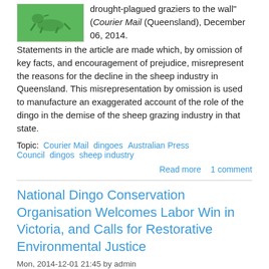[Figure (illustration): Small green thumbnail image of a dingo or sheep-related illustration]
drought-plagued graziers to the wall" (Courier Mail (Queensland), December 06, 2014. Statements in the article are made which, by omission of key facts, and encouragement of prejudice, misrepresent the reasons for the decline in the sheep industry in Queensland. This misrepresentation by omission is used to manufacture an exaggerated account of the role of the dingo in the demise of the sheep grazing industry in that state.
Topic: Courier Mail   dingoes   Australian Press Council   dingos   sheep industry
Read more   1 comment
National Dingo Conservation Organisation Welcomes Labor Win in Victoria, and Calls for Restorative Environmental Justice
Mon, 2014-12-01 21:45 by admin
The cruel changes made by the Napthine Victorian Government to wildlife laws are another reason many might not have known to be glad that its term just ended. It reestablished wild dog control zones across eastern Victoria which go well beyond the three kilometre limit into public land established under Labor. It reintroduced trap types previously